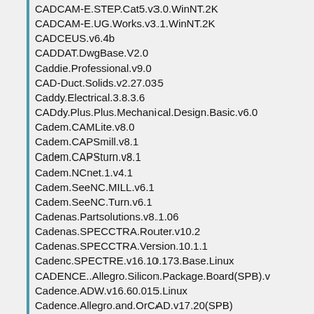CADCAM-E.STEP.Cat5.v3.0.WinNT.2K
CADCAM-E.UG.Works.v3.1.WinNT.2K
CADCEUS.v6.4b
CADDAT.DwgBase.V2.0
Caddie.Professional.v9.0
CAD-Duct.Solids.v2.27.035
Caddy.Electrical.3.8.3.6
CADdy.Plus.Plus.Mechanical.Design.Basic.v6.0
Cadem.CAMLite.v8.0
Cadem.CAPSmill.v8.1
Cadem.CAPSturn.v8.1
Cadem.NCnet.1.v4.1
Cadem.SeeNC.MILL.v6.1
Cadem.SeeNC.Turn.v6.1
Cadenas.Partsolutions.v8.1.06
Cadenas.SPECCTRA.Router.v10.2
Cadenas.SPECCTRA.Version.10.1.1
Cadenc.SPECTRE.v16.10.173.Base.Linux
CADENCE..Allegro.Silicon.Package.Board(SPB).v
Cadence.ADW.v16.60.015.Linux
Cadence.Allegro.and.OrCAD.v17.20(SPB)
Cadence.Allegro.PCB.Design.v16.2
Cadence.Allegro.Sigrity.V16.62
Cadence.Allegro.Silicon.Package.Board(SPB).17.
Cadence.Altes.v12.12.000.Linux